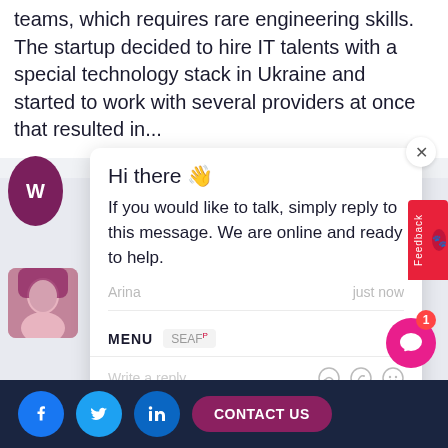teams, which requires rare engineering skills. The startup decided to hire IT talents with a special technology stack in Ukraine and started to work with several providers at once that resulted in...
[Figure (screenshot): Live chat widget popup showing greeting message from agent Arina: 'Hi there 👋 If you would like to talk, simply reply to this message. We are online and ready to help.' with MENU and SEARCH navigation and a reply input box.]
CONTACT US